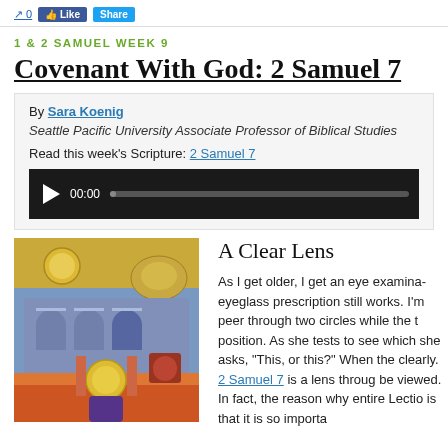Like  Share
1 & 2 SAMUEL WEEK 9
Covenant With God: 2 Samuel 7
By Sara Koenig
Seattle Pacific University Associate Professor of Biblical Studies
Read this week's Scripture: 2 Samuel 7
[Figure (other): Audio player with play button, timestamp 00:00, and progress bar]
[Figure (illustration): Medieval illuminated manuscript or mosaic depicting a religious scene with architectural elements and a haloed figure]
A Clear Lens
As I get older, I get an eye examina­ eyeglass prescription still works. I'm peer through two circles while the t position. As she tests to see which she asks, "This, or this?" When the clearly. 2 Samuel 7 is a lens throug be viewed. In fact, the reason why entire Lectio is that it is so importa